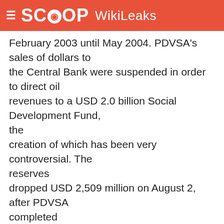SCOOP WikiLeaks
February 2003 until May 2004. PDVSA's sales of dollars to the Central Bank were suspended in order to direct oil revenues to a USD 2.0 billion Social Development Fund, the creation of which has been very controversial. The reserves dropped USD 2,509 million on August 2, after PDVSA completed the buyback of part of its external debt.
INTERNATIONAL RESERVES (USD MILLIONS)
----------------------------------------
BCV FIEM TOTAL